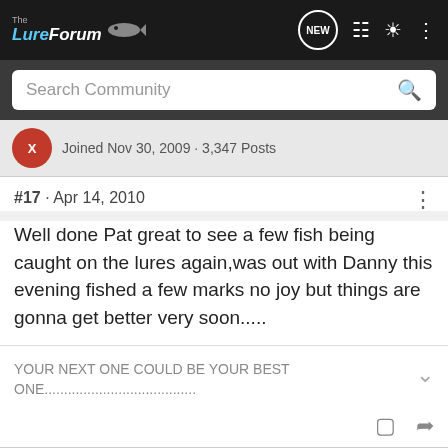The LureForum
Search Community
Joined Nov 30, 2009 · 3,347 Posts
#17  ·  Apr 14, 2010
Well done Pat great to see a few fish being caught on the lures again,was out with Danny this evening fished a few marks no joy but things are gonna get better very soon.....
YOUR NEXT ONE COULD BE YOUR BEST ONE.......................................
[Figure (screenshot): Glock advertisement banner: OPTIC READY SLIMLINE, MOS, FIND A DEALER, Glock Perfection logo]